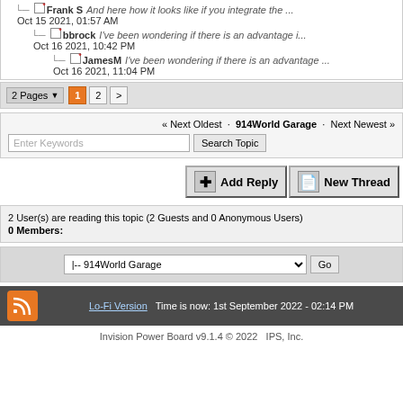Frank S — And here how it looks like if you integrate the ... — Oct 15 2021, 01:57 AM
bbrock — I've been wondering if there is an advantage i... — Oct 16 2021, 10:42 PM
JamesM — I've been wondering if there is an advantage ... — Oct 16 2021, 11:04 PM
2 Pages  1 2 >
« Next Oldest · 914World Garage · Next Newest »
Enter Keywords  Search Topic
Add Reply  New Thread
2 User(s) are reading this topic (2 Guests and 0 Anonymous Users)
0 Members:
|-- 914World Garage  Go
Lo-Fi Version  Time is now: 1st September 2022 - 02:14 PM
Invision Power Board v9.1.4 © 2022  IPS, Inc.